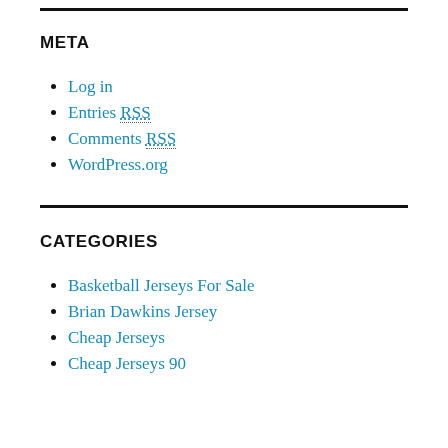META
Log in
Entries RSS
Comments RSS
WordPress.org
CATEGORIES
Basketball Jerseys For Sale
Brian Dawkins Jersey
Cheap Jerseys
Cheap Jerseys 90